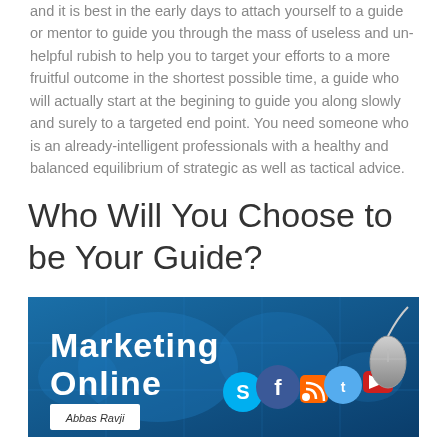and it is best in the early days to attach yourself to a guide or mentor to guide you through the mass of useless and un-helpful rubish to help you to target your efforts to a more fruitful outcome in the shortest possible time, a guide who will actually start at the begining to guide you along slowly and surely to a targeted end point. You need someone who is an already-intelligent professionals with a healthy and balanced equilibrium of strategic as well as tactical advice.
Who Will You Choose to be Your Guide?
[Figure (illustration): Banner image with blue world map background, bold white text reading 'Marketing Online', social media icons (Facebook, RSS, Twitter, YouTube, Skype), a computer mouse, and a small logo reading 'Abbas Ravji']
We composed this overview for a target market of newbie marketing experts, experienced business owners and local business owners, entry to mid-level